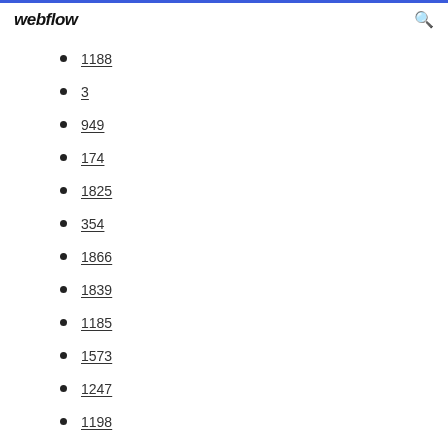webflow
1188
3
949
174
1825
354
1866
1839
1185
1573
1247
1198
1000